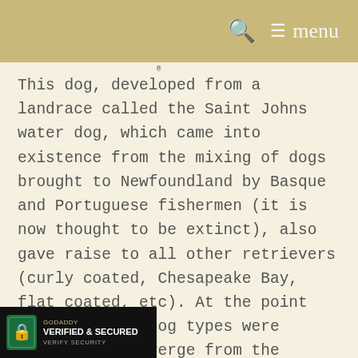🔍  ≡ menu
This dog, developed from a landrace called the Saint Johns water dog, which came into existence from the mixing of dogs brought to Newfoundland by Basque and Portuguese fishermen (it is now thought to be extinct), also gave raise to all other retrievers (curly coated, Chesapeake Bay, flat coated, etc). At the point these various dog types were starting to diverge from the founder landrace and become part of the greater landrace. Humans, based mostly on looks, chose to make these dogs look a certain way and then named them as a new breed
[Figure (logo): GoDaddy Verified & Secured badge in bottom left corner]